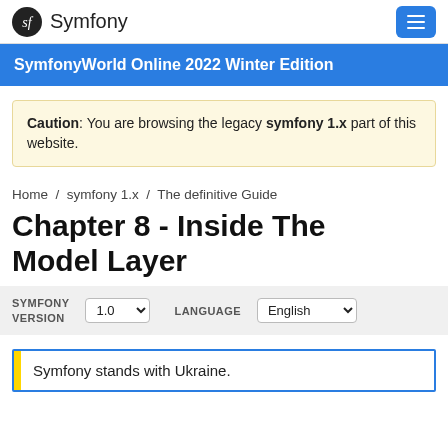Symfony
SymfonyWorld Online 2022 Winter Edition
Caution: You are browsing the legacy symfony 1.x part of this website.
Home / symfony 1.x / The definitive Guide
Chapter 8 - Inside The Model Layer
SYMFONY VERSION 1.0 ▾   LANGUAGE English
Symfony stands with Ukraine.